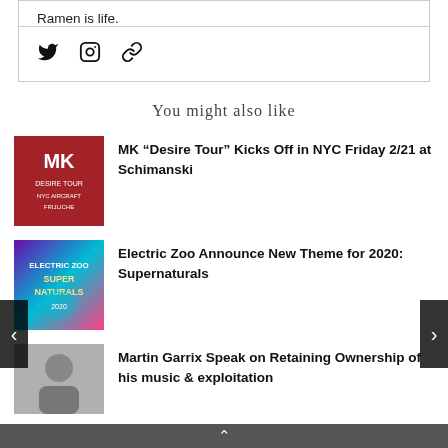Ramen is life.
[Figure (other): Social media icons: Twitter bird, Instagram camera, and a link/chain icon]
You might also like
[Figure (other): Red promotional poster for MK Desire Tour NYC event]
MK “Desire Tour” Kicks Off in NYC Friday 2/21 at Schimanski
[Figure (other): Colorful psychedelic poster for Electric Zoo Supernaturals 2020]
Electric Zoo Announce New Theme for 2020: Supernaturals
[Figure (photo): Photo of Martin Garrix, partially visible]
Martin Garrix Speak on Retaining Ownership of his music & exploitation